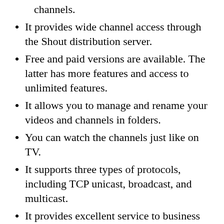channels.
It provides wide channel access through the Shout distribution server.
Free and paid versions are available. The latter has more features and access to unlimited features.
It allows you to manage and rename your videos and channels in folders.
You can watch the channels just like on TV.
It supports three types of protocols, including TCP unicast, broadcast, and multicast.
It provides excellent service to business users.
This way you can access exclusive